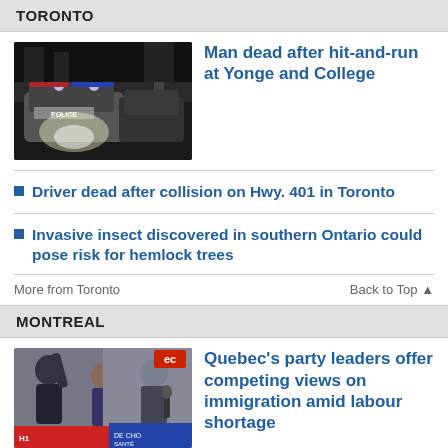TORONTO
[Figure (photo): Police car at night scene, hit-and-run at Yonge and College]
Man dead after hit-and-run at Yonge and College
Driver dead after collision on Hwy. 401 in Toronto
Invasive insect discovered in southern Ontario could pose risk for hemlock trees
More from Toronto
Back to Top ▲
MONTREAL
[Figure (photo): Quebec party leaders at campaign events]
Quebec's party leaders offer competing views on immigration amid labour shortage